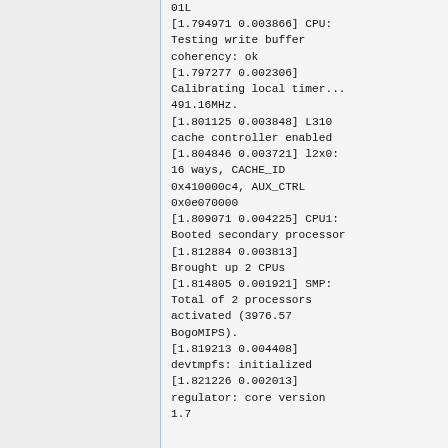01L
[1.794971 0.003866] CPU: Testing write buffer coherency: ok
[1.797277 0.002306] Calibrating local timer... 491.16MHz.
[1.801125 0.003848] L310 cache controller enabled
[1.804846 0.003721] l2x0: 16 ways, CACHE_ID 0x410000c4, AUX_CTRL 0x0e070000
[1.809071 0.004225] CPU1: Booted secondary processor
[1.812884 0.003813] Brought up 2 CPUs
[1.814805 0.001921] SMP: Total of 2 processors activated (3976.57 BogoMIPS).
[1.819213 0.004408] devtmpfs: initialized
[1.821226 0.002013] regulator: core version 1.7